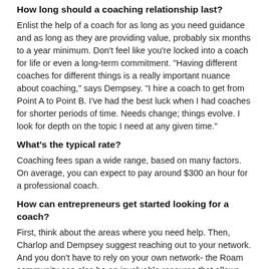How long should a coaching relationship last?
Enlist the help of a coach for as long as you need guidance and as long as they are providing value, probably six months to a year minimum. Don't feel like you're locked into a coach for life or even a long-term commitment. “Having different coaches for different things is a really important nuance about coaching,” says Dempsey. “I hire a coach to get from Point A to Point B. I’ve had the best luck when I had coaches for shorter periods of time. Needs change; things evolve. I look for depth on the topic I need at any given time.”
What’s the typical rate?
Coaching fees span a wide range, based on many factors. On average, you can expect to pay around $300 an hour for a professional coach.
How can entrepreneurs get started looking for a coach?
First, think about the areas where you need help. Then, Charlop and Dempsey suggest reaching out to your network. And you don’t have to rely on your own network- the Roam community can also be an invaluable resource that allows you to connect to the experience and expertise you need. In the coming